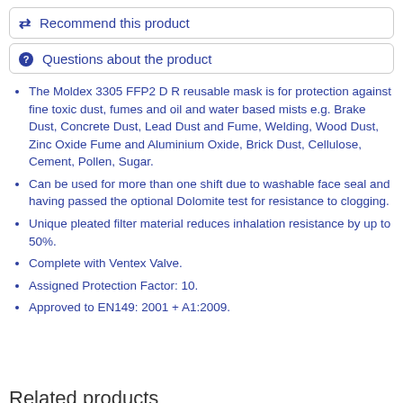Recommend this product
Questions about the product
The Moldex 3305 FFP2 D R reusable mask is for protection against fine toxic dust, fumes and oil and water based mists e.g. Brake Dust, Concrete Dust, Lead Dust and Fume, Welding, Wood Dust, Zinc Oxide Fume and Aluminium Oxide, Brick Dust, Cellulose, Cement, Pollen, Sugar.
Can be used for more than one shift due to washable face seal and having passed the optional Dolomite test for resistance to clogging.
Unique pleated filter material reduces inhalation resistance by up to 50%.
Complete with Ventex Valve.
Assigned Protection Factor: 10.
Approved to EN149: 2001 + A1:2009.
Related products